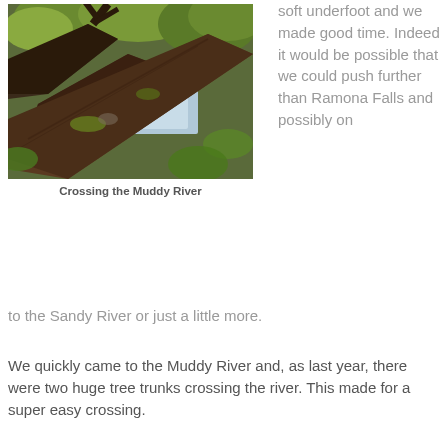[Figure (photo): Photo of two large fallen tree trunks crossing over the Muddy River, with green foliage and water visible in the background.]
Crossing the Muddy River
soft underfoot and we made good time. Indeed it would be possible that we could push further than Ramona Falls and possibly on to the Sandy River or just a little more.
We quickly came to the Muddy River and, as last year, there were two huge tree trunks crossing the river. This made for a super easy crossing.